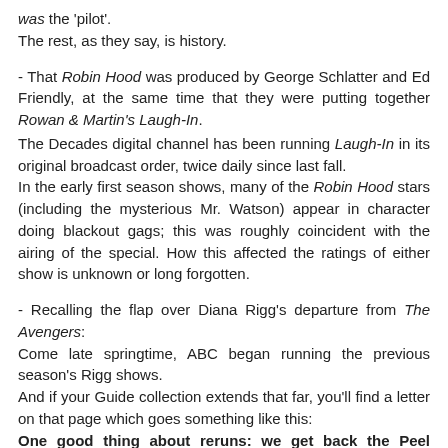was the 'pilot'.
The rest, as they say, is history.
- That Robin Hood was produced by George Schlatter and Ed Friendly, at the same time that they were putting together Rowan & Martin's Laugh-In.
The Decades digital channel has been running Laugh-In in its original broadcast order, twice daily since last fall.
In the early first season shows, many of the Robin Hood stars (including the mysterious Mr. Watson) appear in character doing blackout gags; this was roughly coincident with the airing of the special. How this affected the ratings of either show is unknown or long forgotten.
- Recalling the flap over Diana Rigg's departure from The Avengers:
Come late springtime, ABC began running the previous season's Rigg shows.
And if your Guide collection extends that far, you'll find a letter on that page which goes something like this:
One good thing about reruns: we get back the Peel instead of the lemon.
The next line...